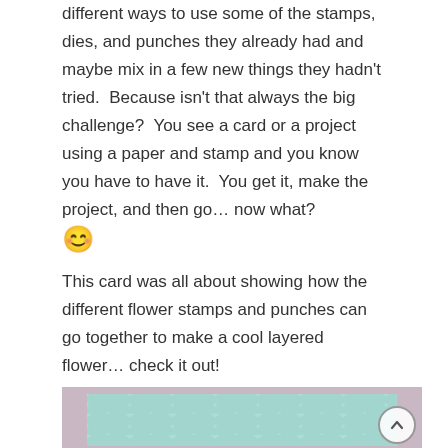different ways to use some of the stamps, dies, and punches they already had and maybe mix in a few new things they hadn't tried. Because isn't that always the big challenge? You see a card or a project using a paper and stamp and you know you have to have it. You get it, make the project, and then go… now what? 😊
This card was all about showing how the different flower stamps and punches can go together to make a cool layered flower… check it out!
[Figure (photo): A crafting card photo showing a mauve/dusty rose colored card base with a teal/mint chevron patterned paper layered on top. A scroll-to-top button (circle with up arrow) is visible in the bottom right corner.]